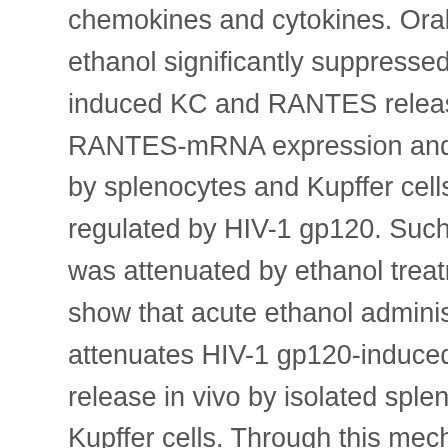chemokines and cytokines. Oral administration of ethanol significantly suppressed HIV-1gp120-induced KC and RANTES release. KC and RANTES-mRNA expression and protein release by splenocytes and Kupffer cells were up-regulated by HIV-1 gp120. Such up-regulation was attenuated by ethanol treatment. These data show that acute ethanol administration attenuates HIV-1 gp120-induced chemokine release in vivo by isolated splenocytes and Kupffer cells. Through this mechanism, previous in vivo ethanol use may compromise the ability of HIV-1 gp120 to induce chemokine-mediated inhibition of HIV-1 entry into target cells.
Full Text